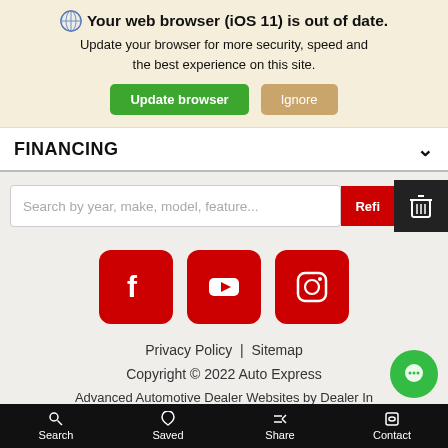Your web browser (iOS 11) is out of date. Update your browser for more security, speed and the best experience on this site.
[Figure (screenshot): Browser update banner with Update browser (green) and Ignore (tan) buttons]
FINANCING
[Figure (screenshot): Search bar with placeholder 'Search by year, make, model, feature...' and red Refine button and dark filter icon]
[Figure (screenshot): Three red social media icon buttons: Facebook, YouTube, Instagram]
Privacy Policy | Sitemap
Copyright © 2022 Auto Express
Advanced Automotive Dealer Websites by Dealer In
Search  Saved  Share  Contact